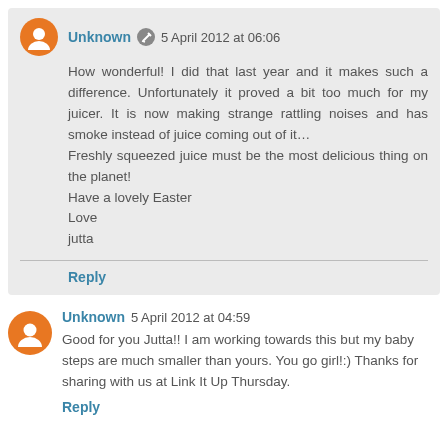Unknown 5 April 2012 at 06:06
How wonderful! I did that last year and it makes such a difference. Unfortunately it proved a bit too much for my juicer. It is now making strange rattling noises and has smoke instead of juice coming out of it…
Freshly squeezed juice must be the most delicious thing on the planet!
Have a lovely Easter
Love
jutta
Reply
Unknown 5 April 2012 at 04:59
Good for you Jutta!! I am working towards this but my baby steps are much smaller than yours. You go girl!:) Thanks for sharing with us at Link It Up Thursday.
Reply